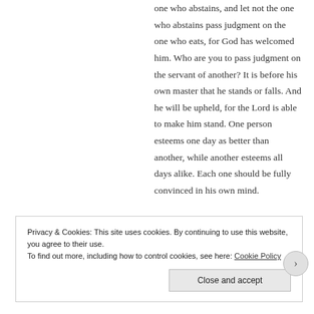one who abstains, and let not the one who abstains pass judgment on the one who eats, for God has welcomed him. Who are you to pass judgment on the servant of another? It is before his own master that he stands or falls. And he will be upheld, for the Lord is able to make him stand. One person esteems one day as better than another, while another esteems all days alike. Each one should be fully convinced in his own mind.
Privacy & Cookies: This site uses cookies. By continuing to use this website, you agree to their use.
To find out more, including how to control cookies, see here: Cookie Policy
Close and accept